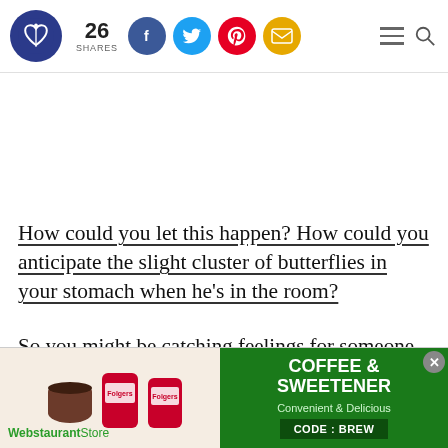26 SHARES — social share icons (Facebook, Twitter, Pinterest, Email)
How could you let this happen? How could you anticipate the slight cluster of butterflies in your stomach when he's in the room?
So you might be catching feelings for someone
[Figure (screenshot): Advertisement banner for WebstaurantStore promoting Coffee & Sweetener with Folgers coffee products image. Text: COFFEE & SWEETENER, Convenient & Delicious, CODE: BREW]